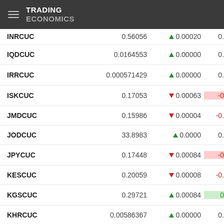TRADING ECONOMICS
| Symbol | Value | Change | % |
| --- | --- | --- | --- |
| INRCUC | 0.56056 | ▲ 0.00020 | 0.05% |
| IQDCUC | 0.0164553 | ▲ 0.00000 | 0.00% |
| IRRCUC | 0.000571429 | ▲ 0.00000 | 0.00% |
| ISKCUC | 0.17053 | ▼ 0.00063 | -0.37% |
| JMDCUC | 0.15986 | ▼ 0.00004 | -0.03% |
| JODCUC | 33.8983 | ▲ 0.0000 | 0.00% |
| JPYCUC | 0.17448 | ▼ 0.00084 | -0.48% |
| KESCUC | 0.20059 | ▼ 0.00008 | -0.04% |
| KGSCUC | 0.29721 | ▲ 0.00084 | 0.28% |
| KHRCUC | 0.00586367 | ▲ 0.00000 | 0.05% |
| KMFCUC | 0.0488013 | ▼ 0.00018 | -0.38% |